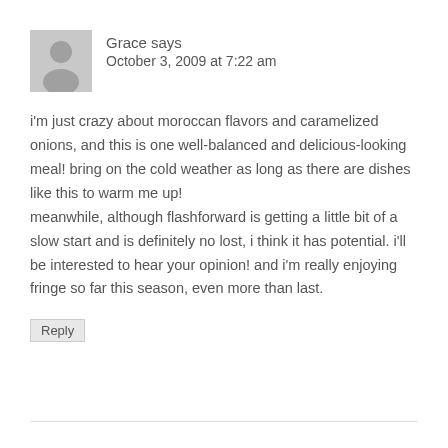Grace says
October 3, 2009 at 7:22 am
i'm just crazy about moroccan flavors and caramelized onions, and this is one well-balanced and delicious-looking meal! bring on the cold weather as long as there are dishes like this to warm me up!
meanwhile, although flashforward is getting a little bit of a slow start and is definitely no lost, i think it has potential. i'll be interested to hear your opinion! and i'm really enjoying fringe so far this season, even more than last.
Reply